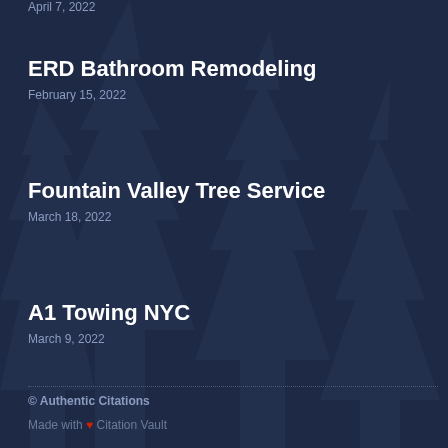April 7, 2022
ERD Bathroom Remodeling
February 15, 2022
Fountain Valley Tree Service
March 18, 2022
A1 Towing NYC
March 9, 2022
© Authentic Citations
Made with ❤ Citation Vault